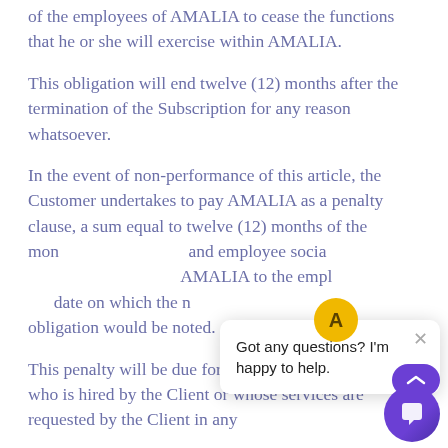of the employees of AMALIA to cease the functions that he or she will exercise within AMALIA.
This obligation will end twelve (12) months after the termination of the Subscription for any reason whatsoever.
In the event of non-performance of this article, the Customer undertakes to pay AMALIA as a penalty clause, a sum equal to twelve (12) months of the mon[...] and employee socia[...] AMALIA to the empl[...] date on which the n[...] obligation would be noted.
This penalty will be due for each employee AMALIA who is hired by the Client or whose services are requested by the Client in any
[Figure (screenshot): Chat widget overlay with avatar circle showing 'A', a popup saying 'Got any questions? I'm happy to help.' with a close button, and a purple chat icon button at bottom right.]